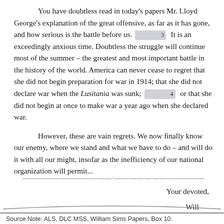You have doubtless read in today's papers Mr. Lloyd George's explanation of the great offensive, as far as it has gone, and how serious is the battle before us. 3  It is an exceedingly anxious time. Doubtless the struggle will continue most of the summer – the greatest and most important battle in the history of the world. America can never cease to regret that she did not begin preparation for war in 1914; that she did not declare war when the Lusitania was sunk; 4  or that she did not begin at once to make war a year ago when she declared war.
However, these are vain regrets. We now finally know our enemy, where we stand and what we have to do – and will do it with all our might, insofar as the inefficiency of our national organization will permit...
Your devoted,
Will
Source Note: ALS, DLC MSS, William Sims Papers, Box 10.